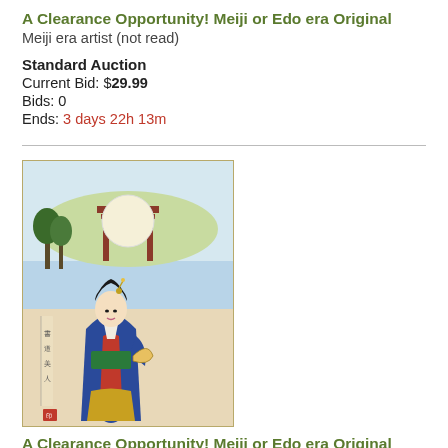A Clearance Opportunity! Meiji or Edo era Original
Meiji era artist (not read)
Standard Auction
Current Bid: $29.99
Bids: 0
Ends: 3 days 22h 13m
[Figure (illustration): Japanese woodblock print showing a geisha in colorful kimono with a landscape and torii gate in the background]
A Clearance Opportunity! Meiji or Edo era Original
Meiji era artist (not read)
Standard Auction
Current Bid: $29.99